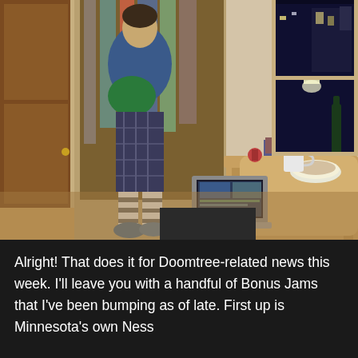[Figure (photo): Indoor photo showing a person standing near a closet/doorway in a small apartment room. A wooden desk/table is visible with an open MacBook laptop, a bowl of food, a mug, and other items. A window with city night view is in the background. The person is wearing a blue top and plaid pants with striped socks.]
Alright! That does it for Doomtree-related news this week. I'll leave you with a handful of Bonus Jams that I've been bumping as of late. First up is Minnesota's own Ness